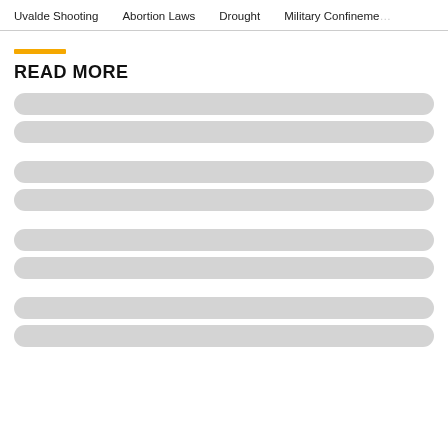Uvalde Shooting   Abortion Laws   Drought   Military Confinement
READ MORE
[Figure (other): Loading skeleton placeholder bars arranged in groups of two, representing article link placeholders under a READ MORE section header]